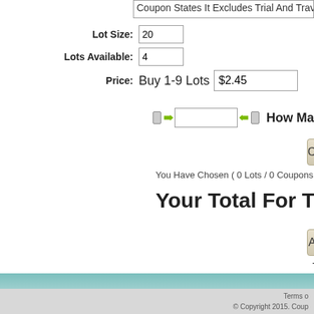Coupon States It Excludes Trial And Trave...
Lot Size: 20
Lots Available: 4
Price: Buy 1-9 Lots $2.45
How Ma...
Calculate Total
You Have Chosen ( 0 Lots / 0 Coupons Pe...
Your Total For This O...
Add To Cart
Terms o... © Copyright 2015. Coup... Deve...